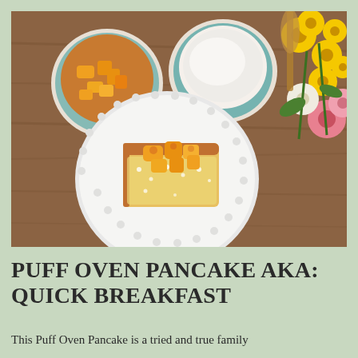[Figure (photo): Overhead view of a wooden table with a white plate holding a slice of puff oven pancake topped with peach chunks and powdered sugar. Two small ramekins sit nearby — one with peach pieces, one with powdered sugar. Yellow, pink, and white flowers are arranged in the upper right corner.]
PUFF OVEN PANCAKE AKA: QUICK BREAKFAST
This Puff Oven Pancake is a tried and true family